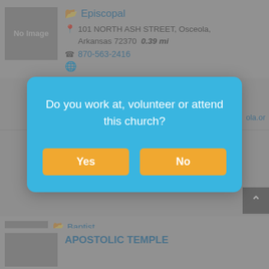[Figure (screenshot): No Image placeholder box (gray rectangle) for first church listing]
Episcopal
101 NORTH ASH STREET, Osceola, Arkansas 72370  0.39 mi
870-563-2416
ola.or (partial URL visible)
[Figure (screenshot): Modal dialog overlay with sky-blue background asking 'Do you work at, volunteer or attend this church?' with Yes and No buttons]
Do you work at, volunteer or attend this church?
Yes
No
[Figure (screenshot): No Image placeholder box for second listing (Baptist)]
Baptist
451 SOUTH POPLAR STREET, Osceola, Arkansas 72370  0.4 mi
870-563-2162
APOSTOLIC TEMPLE